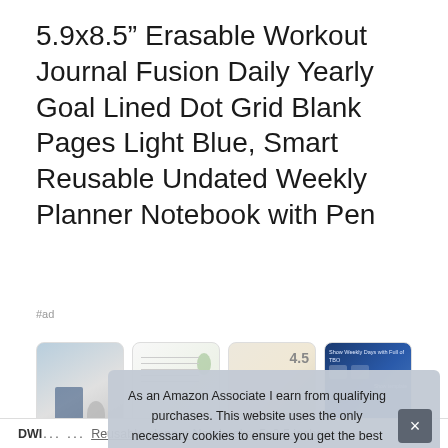5.9x8.5” Erasable Workout Journal Fusion Daily Yearly Goal Lined Dot Grid Blank Pages Light Blue, Smart Reusable Undated Weekly Planner Notebook with Pen
#ad
[Figure (photo): Row of four product thumbnail images showing the notebook planner from different angles]
As an Amazon Associate I earn from qualifying purchases. This website uses the only necessary cookies to ensure you get the best experience on our website. More information
DWI… … Reusable planner Notebooks: 5x8.5 inches,